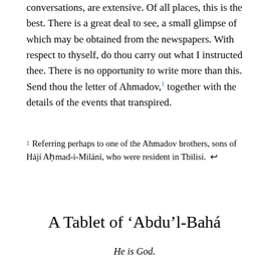conversations, are extensive. Of all places, this is the best. There is a great deal to see, a small glimpse of which may be obtained from the newspapers. With respect to thyself, do thou carry out what I instructed thee. There is no opportunity to write more than this. Send thou the letter of Ahmadov,¹ together with the details of the events that transpired.
1 Referring perhaps to one of the Ahmadov brothers, sons of Hájí Aḥmad-i-Milání, who were resident in Tbilisi. ↩
A Tablet of 'Abdu'l-Bahá
He is God.